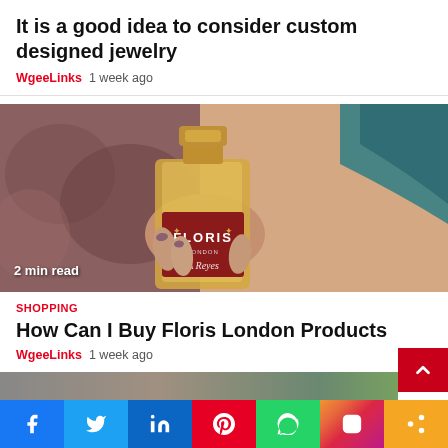It is a good idea to consider custom designed jewelry
WgeeLinks  1 week ago
[Figure (photo): Person holding a Floris London perfume bottle with gold cap, label showing FLORIS in red. Text overlay: '2 min read']
SHOPPING
How Can I Buy Floris London Products
WgeeLinks  1 week ago